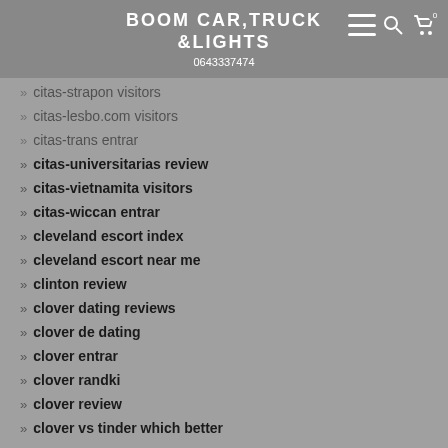BOOM CAR,TRUCK &LIGHTS
0643337474
citas-strapon visitors
citas-lesbo.com visitors
citas-trans entrar
citas-universitarias review
citas-vietnamita visitors
citas-wiccan entrar
cleveland escort index
cleveland escort near me
clinton review
clover dating reviews
clover de dating
clover entrar
clover randki
clover review
clover vs tinder which better